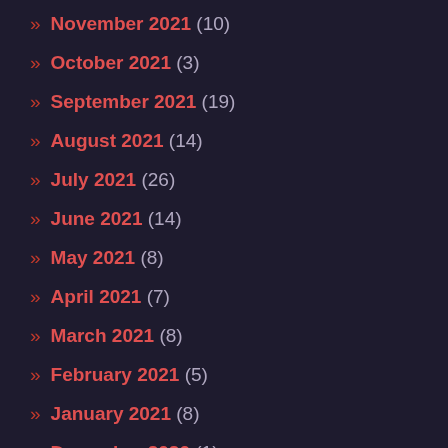» November 2021 (10)
» October 2021 (3)
» September 2021 (19)
» August 2021 (14)
» July 2021 (26)
» June 2021 (14)
» May 2021 (8)
» April 2021 (7)
» March 2021 (8)
» February 2021 (5)
» January 2021 (8)
» December 2020 (1)
» November 2020 (8)
» October 2020 (11)
» September 2020 (7)